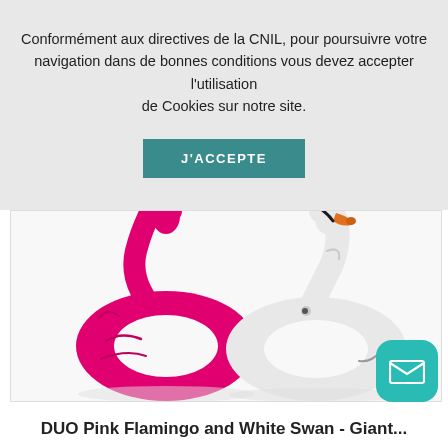Conformément aux directives de la CNIL, pour poursuivre votre navigation dans de bonnes conditions vous devez accepter l'utilisation de Cookies sur notre site.
J'ACCEPTE
[Figure (photo): Two inflatable pool floats: a pink flamingo ring float on the left and a white swan ring float on the right, shown from above with their long necks visible at the top.]
DUO Pink Flamingo and White Swan - Giant...